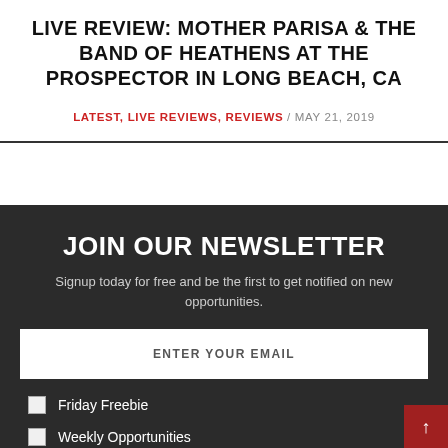LIVE REVIEW: MOTHER PARISA & THE BAND OF HEATHENS AT THE PROSPECTOR IN LONG BEACH, CA
LATEST, LIVE REVIEWS, REVIEWS / MAY 21, 2019
JOIN OUR NEWSLETTER
Signup today for free and be the first to get notified on new opportunities.
ENTER YOUR EMAIL
Friday Freebie
Weekly Opportunities